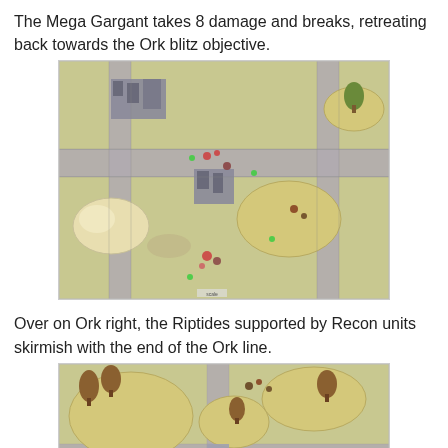The Mega Gargant takes 8 damage and breaks, retreating back towards the Ork blitz objective.
[Figure (photo): Top-down view of a tabletop wargame battlefield with miniatures on a yellow-green mat, roads crossing, terrain pieces including ruins and hills, and small figurines representing game units.]
Over on Ork right, the Riptides supported by Recon units skirmish with the end of the Ork line.
[Figure (photo): Tabletop wargame scene showing miniatures on a yellow-green mat with tree terrain pieces on sand-colored hill bases and a road crossing, with small figurines engaged in skirmish.]